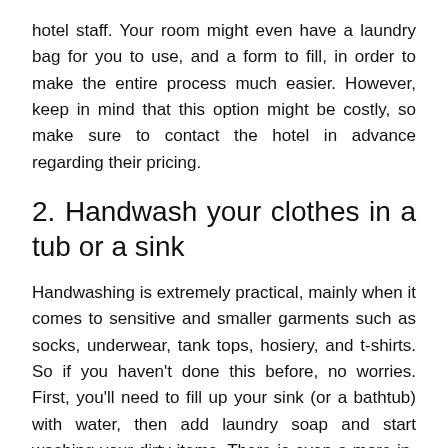hotel staff. Your room might even have a laundry bag for you to use, and a form to fill, in order to make the entire process much easier. However, keep in mind that this option might be costly, so make sure to contact the hotel in advance regarding their pricing.
2. Handwash your clothes in a tub or a sink
Handwashing is extremely practical, mainly when it comes to sensitive and smaller garments such as socks, underwear, tank tops, hosiery, and t-shirts. So if you haven't done this before, no worries. First, you'll need to fill up your sink (or a bathtub) with water, then add laundry soap and start washing your dirty items. There is even a more in-depth guide that will show you how to do it properly. However, keep in mind that handwashing won't be as effective when it comes to larger or more soiled garments.